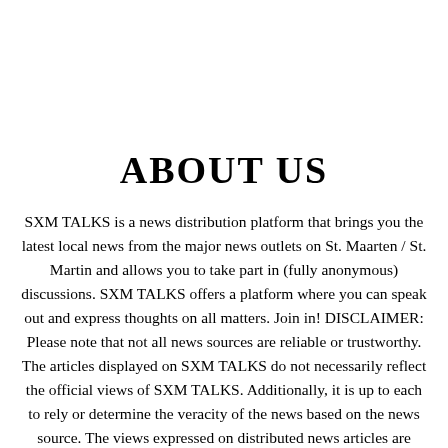ABOUT US
SXM TALKS is a news distribution platform that brings you the latest local news from the major news outlets on St. Maarten / St. Martin and allows you to take part in (fully anonymous) discussions. SXM TALKS offers a platform where you can speak out and express thoughts on all matters. Join in! DISCLAIMER: Please note that not all news sources are reliable or trustworthy. The articles displayed on SXM TALKS do not necessarily reflect the official views of SXM TALKS. Additionally, it is up to each to rely or determine the veracity of the news based on the news source. The views expressed on distributed news articles are solely those of the author and do not necessarily reflect the views of the SXM TALKS and SXM TALKS hereby disclaims any